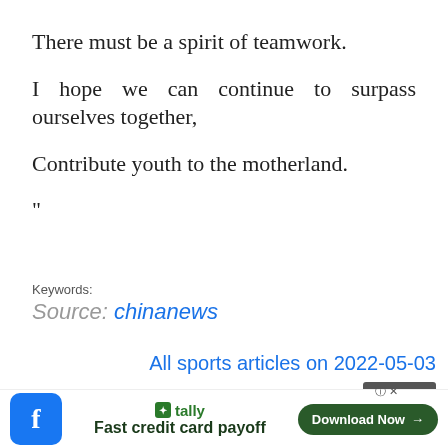There must be a spirit of teamwork.
I hope we can continue to surpass ourselves together,
Contribute youth to the motherland.
"
Keywords:
Source: chinanews
All sports articles on 2022-05-03
Close X
[Figure (screenshot): Ad bar at bottom: Facebook icon, Tally app ad for fast credit card payoff, Download Now button, help/close icons]